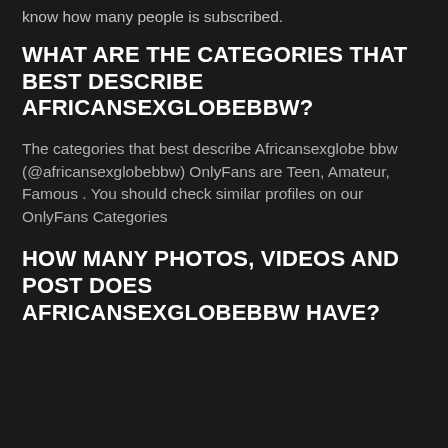know how many people is subscribed.
WHAT ARE THE CATEGORIES THAT BEST DESCRIBE AFRICANSEXGLOBEBBW?
The categories that best describe Africansexglobe bbw (@africansexglobebbw) OnlyFans are Teen, Amateur, Famous . You should check similar profiles on our OnlyFans Categories
HOW MANY PHOTOS, VIDEOS AND POST DOES AFRICANSEXGLOBEBBW HAVE?